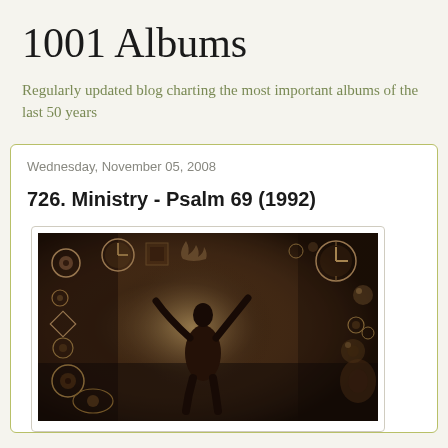1001 Albums
Regularly updated blog charting the most important albums of the last 50 years
Wednesday, November 05, 2008
726. Ministry - Psalm 69 (1992)
[Figure (photo): Album cover for Ministry - Psalm 69 (1992), a sepia-toned photograph showing a silhouetted human figure with arms raised, surrounded by various objects including clocks, spheres, and circular items arranged around the border of a dark background.]